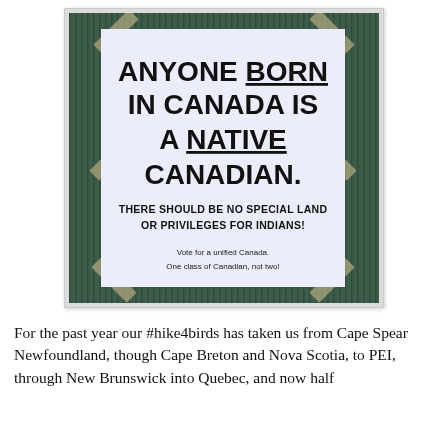[Figure (photo): A printed flyer taped to a dark teal/green corrugated surface. The flyer reads: 'ANYONE BORN IN CANADA IS A NATIVE CANADIAN. THERE SHOULD BE NO SPECIAL LAND OR PRIVILEGES FOR INDIANS! Vote for a unified Canada. One class of Canadian, not two!']
For the past year our #hike4birds has taken us from Cape Spear Newfoundland, though Cape Breton and Nova Scotia, to PEI, through New Brunswick into Quebec, and now half